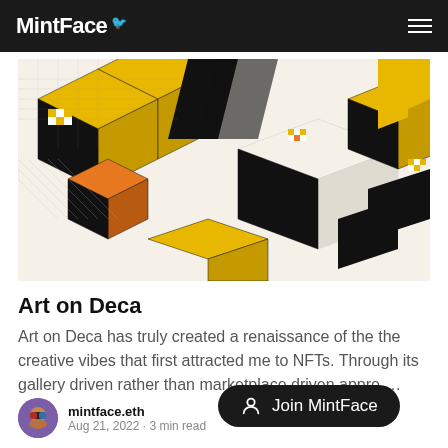MintFace
[Figure (illustration): Abstract isometric geometric artwork with yellow, orange, black, and white 3D cube and grid patterns arranged in a decorative mosaic style — NFT digital art]
Art on Deca
Art on Deca has truly created a renaissance of the the creative vibes that first attracted me to NFTs. Through its gallery driven rather than marketplace driven appro….
Join MintFace
mintface.eth
Aug 21, 2022 • 3 min read